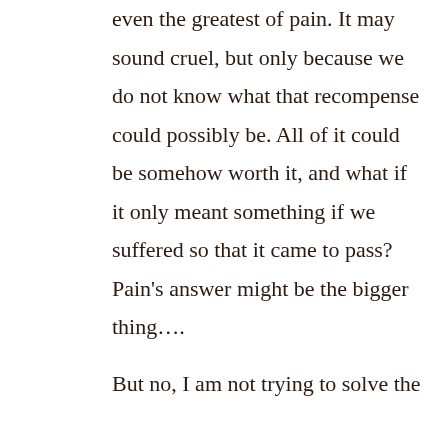even the greatest of pain. It may sound cruel, but only because we do not know what that recompense could possibly be. All of it could be somehow worth it, and what if it only meant something if we suffered so that it came to pass? Pain's answer might be the bigger thing….
But no, I am not trying to solve the